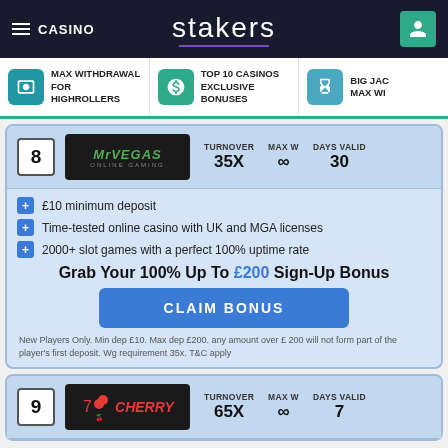CASINO | stakers
MAX WITHDRAWAL FOR HIGHROLLERS
TOP 10 CASINOS EXCLUSIVE BONUSES
BIG JAC MAX WI
8 | TURNOVER 35X | MAX W ∞ | DAYS VALID 30
£10 minimum deposit
Time-tested online casino with UK and MGA licenses
2000+ slot games with a perfect 100% uptime rate
Grab Your 100% Up To £200 Sign-Up Bonus
CLAIM BONUS
New Players Only. Min dep £10. Max dep £200. any amount over £ 200 will not form part of the player's first deposit. Wg requirement 35x. T&C apply
9 | TURNOVER 65X | MAX W ∞ | DAYS VALID 7